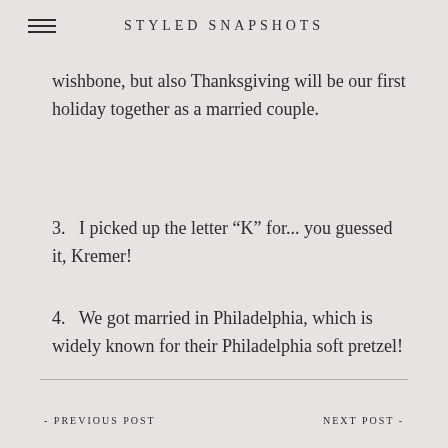STYLED SNAPSHOTS
wishbone, but also Thanksgiving will be our first holiday together as a married couple.
3.   I picked up the letter “K” for... you guessed it, Kremer!
4.   We got married in Philadelphia, which is widely known for their Philadelphia soft pretzel!
- PREVIOUS POST          NEXT POST -